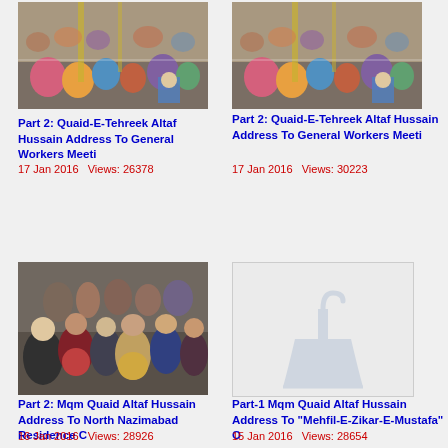[Figure (photo): Crowd of people sitting at a gathering/meeting event]
Part 2: Quaid-E-Tehreek Altaf Hussain Address To General Workers Meeti
17 Jan 2016   Views: 26378
[Figure (photo): Crowd of people sitting at a gathering/meeting event (part 2)]
Part 2: Quaid-E-Tehreek Altaf Hussain Address To General Workers Meeti
17 Jan 2016   Views: 30223
[Figure (photo): Crowd of people standing/sitting at North Nazimabad Residence event]
Part 2: Mqm Quaid Altaf Hussain Address To North Nazimabad Residence C
16 Jan 2016   Views: 28926
[Figure (photo): Placeholder image with faint bell/lamp icon for Mehfil-E-Zikar-E-Mustafa video]
Part-1 Mqm Quaid Altaf Hussain Address To "Mehfil-E-Zikar-E-Mustafa" O
15 Jan 2016   Views: 28654